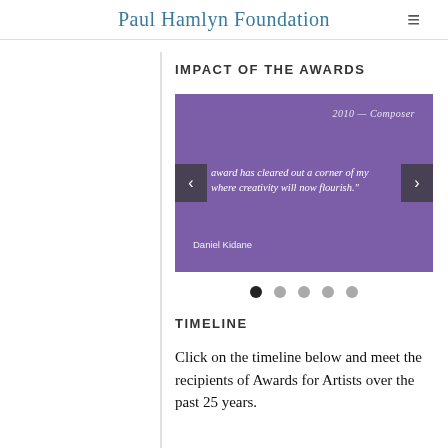Paul Hamlyn Foundation
IMPACT OF THE AWARDS
[Figure (screenshot): Purple slideshow panel with navigation arrows, showing a quote '...award has cleared out a corner of my where creativity will now flourish.' attributed to Daniel Kidane, dated 2010 — Composer]
TIMELINE
Click on the timeline below and meet the recipients of Awards for Artists over the past 25 years.